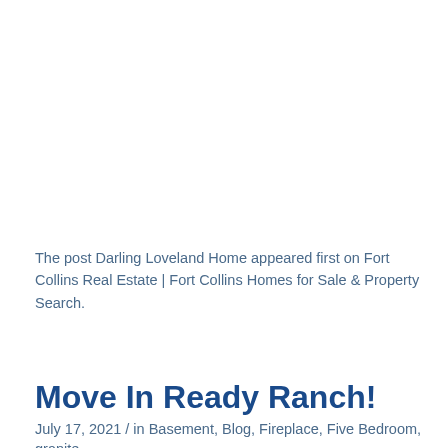The post Darling Loveland Home appeared first on Fort Collins Real Estate | Fort Collins Homes for Sale & Property Search.
Move In Ready Ranch!
July 17, 2021 / in Basement, Blog, Fireplace, Five Bedroom, granite